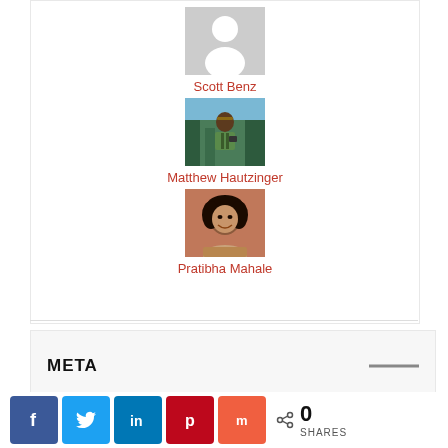[Figure (photo): Default avatar placeholder — grey silhouette of a person on grey background]
Scott Benz
[Figure (photo): Photo of Matthew Hautzinger wearing a green jacket and headband with a backpack in a forested mountain setting]
Matthew Hautzinger
[Figure (photo): Photo of Pratibha Mahale, a woman with curly dark hair, smiling]
Pratibha Mahale
META
[Figure (infographic): Social share bar with Facebook, Twitter, LinkedIn, Pinterest, Mix buttons and a share count of 0 SHARES]